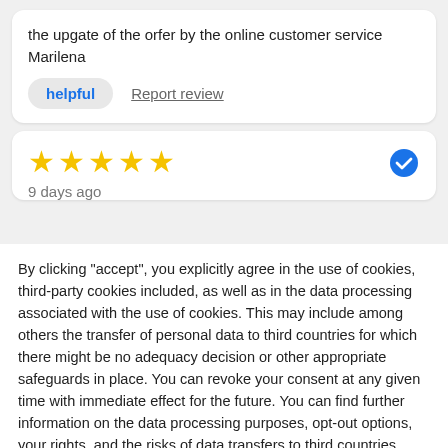the upgate of the orfer by the online customer service Marilena
helpful   Report review
[Figure (other): Five yellow stars rating and a blue verified checkmark badge]
9 days ago
By clicking "accept", you explicitly agree in the use of cookies, third-party cookies included, as well as in the data processing associated with the use of cookies. This may include among others the transfer of personal data to third countries for which there might be no adequacy decision or other appropriate safeguards in place. You can revoke your consent at any given time with immediate effect for the future. You can find further information on the data processing purposes, opt-out options, your rights, and the risks of data transfers to third countries here.
ACCEPT